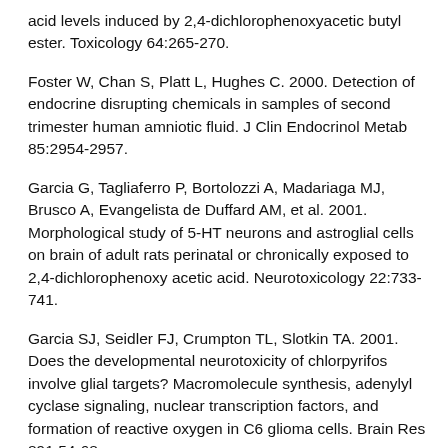acid levels induced by 2,4-dichlorophenoxyacetic butyl ester. Toxicology 64:265-270.
Foster W, Chan S, Platt L, Hughes C. 2000. Detection of endocrine disrupting chemicals in samples of second trimester human amniotic fluid. J Clin Endocrinol Metab 85:2954-2957.
Garcia G, Tagliaferro P, Bortolozzi A, Madariaga MJ, Brusco A, Evangelista de Duffard AM, et al. 2001. Morphological study of 5-HT neurons and astroglial cells on brain of adult rats perinatal or chronically exposed to 2,4-dichlorophenoxy acetic acid. Neurotoxicology 22:733-741.
Garcia SJ, Seidler FJ, Crumpton TL, Slotkin TA. 2001. Does the developmental neurotoxicity of chlorpyrifos involve glial targets? Macromolecule synthesis, adenylyl cyclase signaling, nuclear transcription factors, and formation of reactive oxygen in C6 glioma cells. Brain Res 891:54-68.